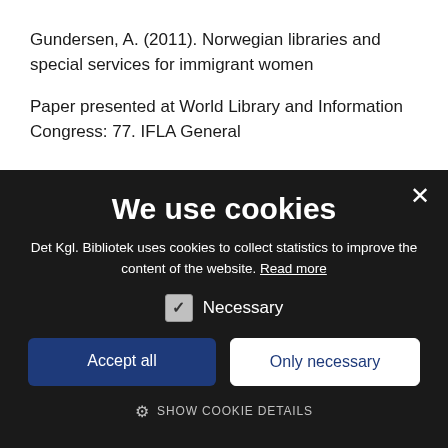Gundersen, A. (2011). Norwegian libraries and special services for immigrant women
Paper presented at World Library and Information Congress: 77. IFLA General
We use cookies
Det Kgl. Bibliotek uses cookies to collect statistics to improve the content of the website. Read more
Necessary
Accept all
Only necessary
SHOW COOKIE DETAILS